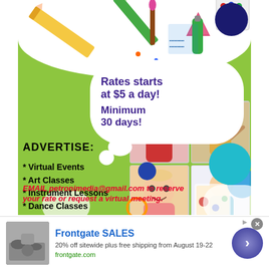[Figure (infographic): Children's activity advertisement flyer on green background. Features colorful school supplies at top (pencils, paint, art tools), speech bubble clouds with pricing info, photos of children doing activities (art, dance, crafts), list of advertised services, and contact email.]
Rates starts at $5 a day!
Minimum 30 days!
ADVERTISE:
* Virtual Events
* Art Classes
* Instrument Lessons
* Dance Classes
* Arts & Crafts Events
* Theatre
* Vocal Coach
EMAIL petronimedia@gmail.com to reserve your rate or request a virtual meeting.
Frontgate SALES
20% off sitewide plus free shipping from August 19-22
frontgate.com